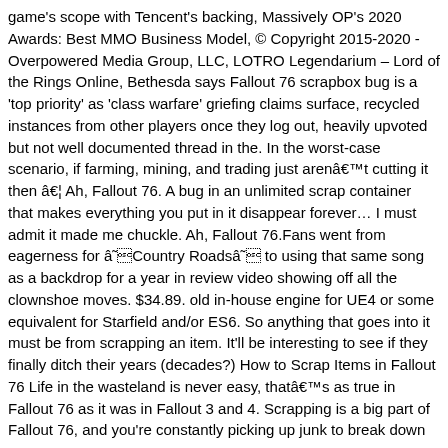game's scope with Tencent's backing, Massively OP's 2020 Awards: Best MMO Business Model, © Copyright 2015-2020 - Overpowered Media Group, LLC, LOTRO Legendarium – Lord of the Rings Online, Bethesda says Fallout 76 scrapbox bug is a 'top priority' as 'class warfare' griefing claims surface, recycled instances from other players once they log out, heavily upvoted but not well documented thread in the. In the worst-case scenario, if farming, mining, and trading just aren't cutting it then â¦ Ah, Fallout 76. A bug in an unlimited scrap container that makes everything you put in it disappear forever… I must admit it made me chuckle. Ah, Fallout 76.Fans went from eagerness for âCountry Roadsâ to using that same song as a backdrop for a year in review video showing off all the clownshoe moves. $34.89. old in-house engine for UE4 or some equivalent for Starfield and/or ES6. So anything that goes into it must be from scrapping an item. It'll be interesting to see if they finally ditch their years (decades?) How to Scrap Items in Fallout 76 Life in the wasteland is never easy, that's as true in Fallout 76 as it was in Fallout 3 and 4. Scrapping is a big part of Fallout 76, and you're constantly picking up junk to break down at workbenches. Free shipping . Fallout 76 PC | Bloodied 33% Fixer (90rw) $28.00. When I start thinking you can learn some better practices from Studio Wildcard, you know you missed the mark by a wide margin. Characteristics. NEW THIS WEEK: The Quick Fix, a 3* Legendary Switchblade only attainable in Fallout 76 Survival Mode. We know it's hard to keep up with all the bad things about the â¦ Go Shopping. Updated 02/05/2020 09:03 AM. Free shipping for many products! As for the class warfare thing, that's… just kind of petty. Now you go ahead and do this Fallout 1st thing which has a premium feature â